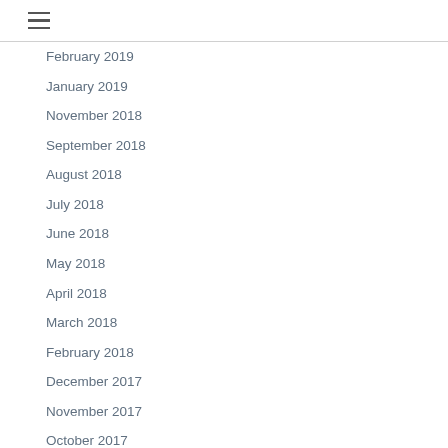≡
February 2019
January 2019
November 2018
September 2018
August 2018
July 2018
June 2018
May 2018
April 2018
March 2018
February 2018
December 2017
November 2017
October 2017
September 2017
July 2017
June 2017
May 2017
April 2017